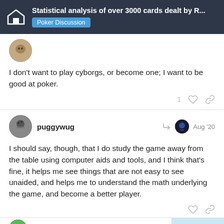Statistical analysis of over 3000 cards dealt by R... | Poker Discussion
I don’t want to play cyborgs, or become one; I want to be good at poker.
puggywug Aug '20
I should say, though, that I do study the game away from the table using computer aids and tools, and I think that's fine, it helps me see things that are not easy to see unaided, and helps me to understand the math underlying the game, and become a better player.
18 / 21
RoJo98